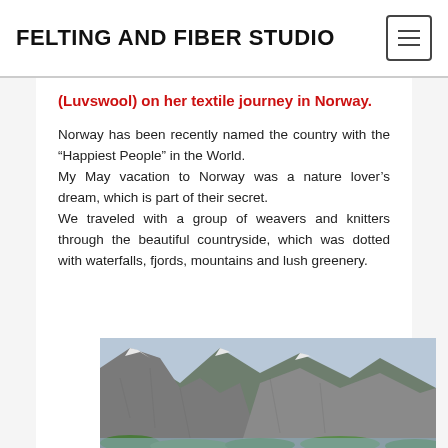FELTING AND FIBER STUDIO
(Luvswool) on her textile journey in Norway.
Norway has been recently named the country with the “Happiest People” in the World.
My May vacation to Norway was a nature lover’s dream, which is part of their secret.
We traveled with a group of weavers and knitters through the beautiful countryside, which was dotted with waterfalls, fjords, mountains and lush greenery.
[Figure (photo): Photograph of steep rocky mountain cliffs with snow-capped peaks and green vegetation at the bottom, likely a Norwegian fjord landscape.]